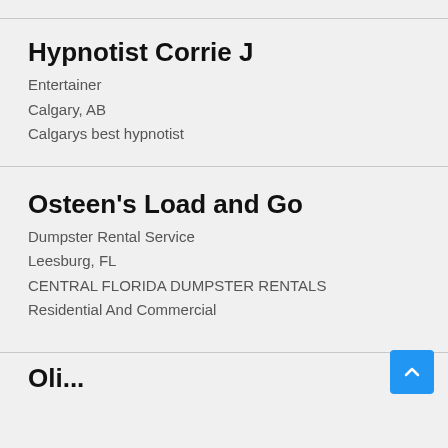Hypnotist Corrie J
Entertainer
Calgary, AB
Calgarys best hypnotist
Osteen’s Load and Go
Dumpster Rental Service
Leesburg, FL
CENTRAL FLORIDA DUMPSTER RENTALS
Residential And Commercial
Oli...